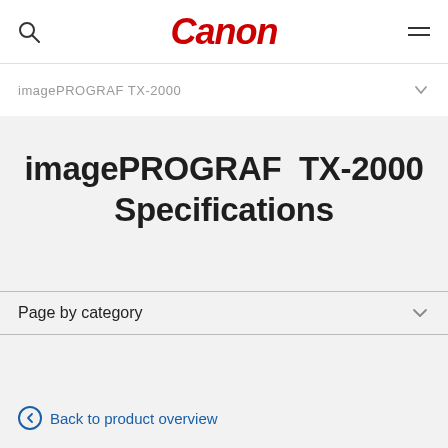Canon
imagePROGRAF TX-2000
imagePROGRAF TX-2000 Specifications
Page by category
Back to product overview